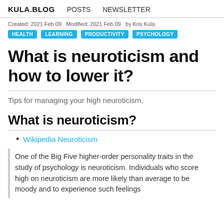KULA.BLOG  POSTS  NEWSLETTER
Created: 2021 Feb 09   Modified: 2021 Feb 09   by Kris Kula
HEALTH  LEARNING  PRODUCTIVITY  PSYCHOLOGY
What is neuroticism and how to lower it?
Tips for managing your high neuroticism.
What is neuroticism?
Wikipedia Neuroticism
One of the Big Five higher-order personality traits in the study of psychology is neuroticism. Individuals who score high on neuroticism are more likely than average to be moody and to experience such feelings